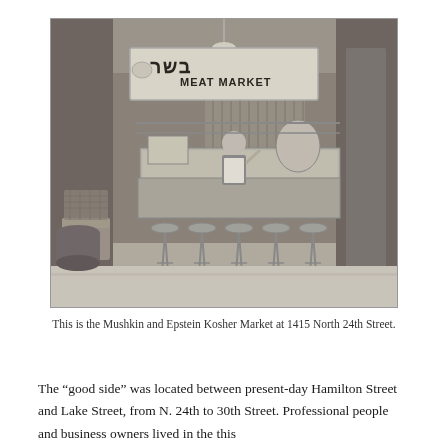[Figure (photo): Black and white historical photograph of the interior of the Mushkin and Epstein Kosher Market at 1415 North 24th Street. A large sign reads 'MEAT MARKET' with Hebrew text. A butcher stands behind the counter. Stools line the front of the counter. A chair is visible on the left.]
This is the Mushkin and Epstein Kosher Market at 1415 North 24th Street.
The “good side” was located between present-day Hamilton Street and Lake Street, from N. 24th to 30th Street. Professional people and business owners lived in the this